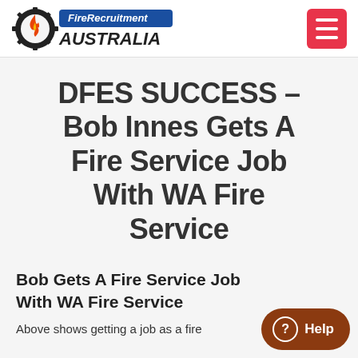Fire Recruitment Australia – logo and navigation
DFES SUCCESS – Bob Innes Gets A Fire Service Job With WA Fire Service
Bob Gets A Fire Service Job With WA Fire Service
Above shows getting a job as a fire...